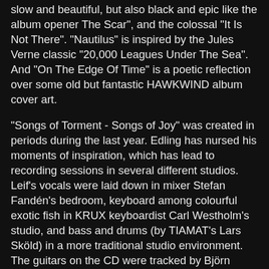slow and beautiful, but also black and epic like the album opener The Scar", and the colossal "It Is Not There". "Nautilus" is inspired by the Jules Verne classic "20,000 Leagues Under The Sea". And "On The Edge Of Time" is a poetic reflection over some old but fantastic HAWKWIND album cover art.
"Songs of Torment - Songs of Joy" was created in periods during the last year. Edling has nursed his moments of inspiration, which has lead to recording sessions in several different studios. Leif's vocals were laid down in mixer Stefan Fandén's bedroom, keyboard among colourful exotic fish in KRUX keyboardist Carl Westholm's studio, and bass and drums (by TIAMAT's Lars Sköld) in a more traditional studio environment. The guitars on the CD were tracked by Björn Eriksson and Chris Laney.
"You don't need an expensive studio to make cool music. Some friends and a creative perspective is enough," says Leif.
"Songs of Torment - Songs of Joy" track listing: